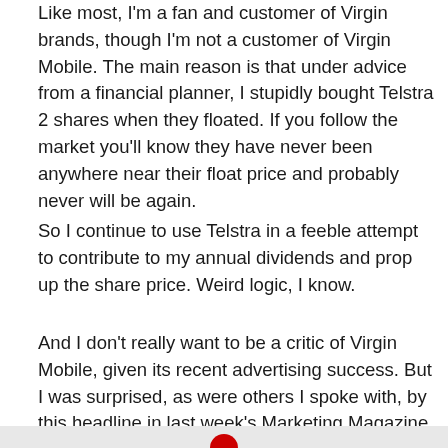Like most, I'm a fan and customer of Virgin brands, though I'm not a customer of Virgin Mobile. The main reason is that under advice from a financial planner, I stupidly bought Telstra 2 shares when they floated. If you follow the market you'll know they have never been anywhere near their float price and probably never will be again.
So I continue to use Telstra in a feeble attempt to contribute to my annual dividends and prop up the share price. Weird logic, I know.
And I don't really want to be a critic of Virgin Mobile, given its recent advertising success. But I was surprised, as were others I spoke with, by this headline in last week's Marketing Magazine email: